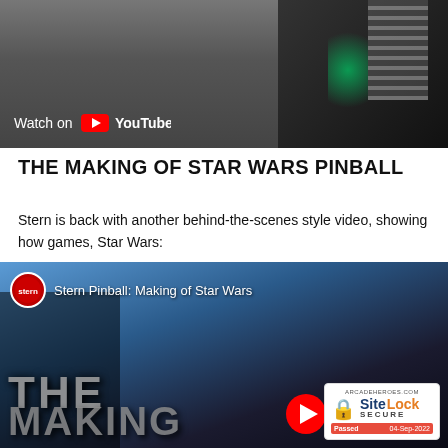[Figure (screenshot): YouTube video thumbnail showing people at an arcade/pinball machine with 'Watch on YouTube' overlay text and play button]
THE MAKING OF STAR WARS PINBALL
Stern is back with another behind-the-scenes style video, showing how games, Star Wars:
[Figure (screenshot): YouTube video thumbnail for 'Stern Pinball: Making of Star Wars' showing large metallic text 'THE MAKING' with a SiteLock SECURE badge dated 04-Sep-2022]